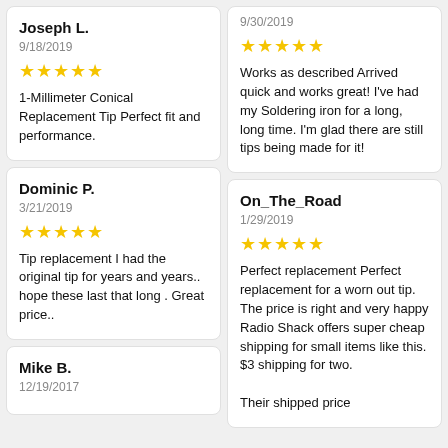Joseph L.
9/18/2019
★★★★★
1-Millimeter Conical Replacement Tip Perfect fit and performance.
9/30/2019
★★★★★
Works as described Arrived quick and works great! I've had my Soldering iron for a long, long time. I'm glad there are still tips being made for it!
Dominic P.
3/21/2019
★★★★★
Tip replacement I had the original tip for years and years.. hope these last that long . Great price..
On_The_Road
1/29/2019
★★★★★
Perfect replacement Perfect replacement for a worn out tip. The price is right and very happy Radio Shack offers super cheap shipping for small items like this. $3 shipping for two. Their shipped price
Mike B.
12/19/2017